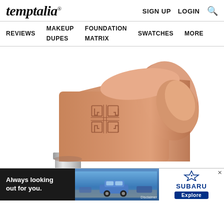temptalia® | SIGN UP  LOGIN  🔍
REVIEWS  MAKEUP DUPES  FOUNDATION MATRIX  SWATCHES  MORE
[Figure (photo): Close-up photo of a Givenchy nude/coral lipstick bullet with the Givenchy 4G logo embossed on the side, shown emerging from a silver metal tube, on a white background.]
[Figure (photo): Subaru advertisement banner: 'Always looking out for you.' with a Subaru SUV on a road, and Subaru logo with Explore button.]